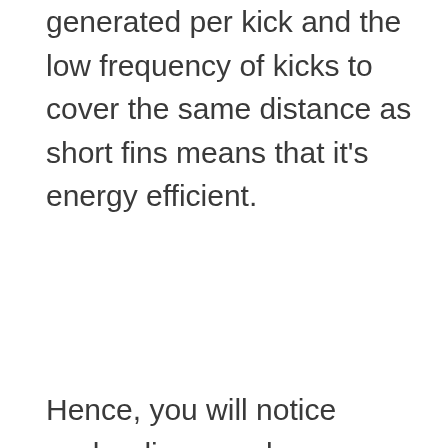generated per kick and the low frequency of kicks to cover the same distance as short fins means that it's energy efficient.
Hence, you will notice scuba divers and